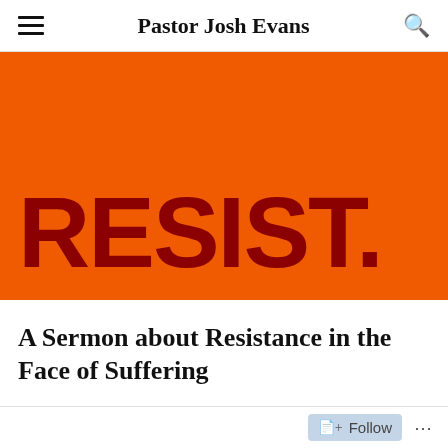Pastor Josh Evans
[Figure (illustration): Orange background with large dark red bold text reading 'RESIST.']
A Sermon about Resistance in the Face of Suffering
Follow